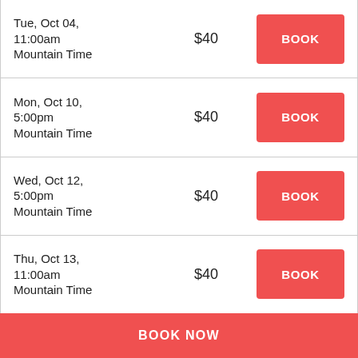Tue, Oct 04, 11:00am Mountain Time $40 BOOK
Mon, Oct 10, 5:00pm Mountain Time $40 BOOK
Wed, Oct 12, 5:00pm Mountain Time $40 BOOK
Thu, Oct 13, 11:00am Mountain Time $40 BOOK
BOOK NOW